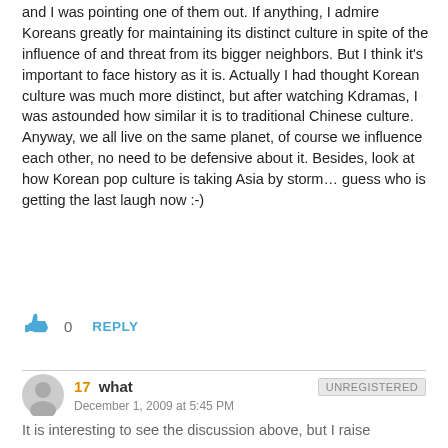and I was pointing one of them out. If anything, I admire Koreans greatly for maintaining its distinct culture in spite of the influence of and threat from its bigger neighbors. But I think it's important to face history as it is. Actually I had thought Korean culture was much more distinct, but after watching Kdramas, I was astounded how similar it is to traditional Chinese culture. Anyway, we all live on the same planet, of course we influence each other, no need to be defensive about it. Besides, look at how Korean pop culture is taking Asia by storm… guess who is getting the last laugh now :-)
0   REPLY
17  what   UNREGISTERED
December 1, 2009 at 5:45 PM
It is interesting to see the discussion above, but I raise